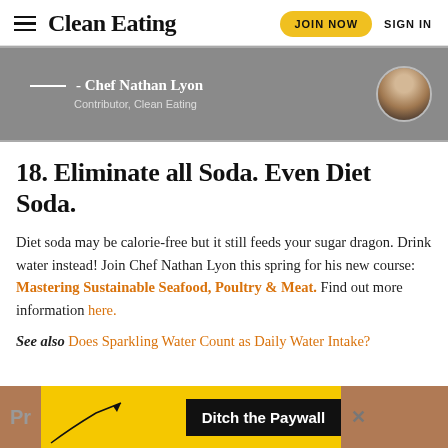Clean Eating | JOIN NOW | SIGN IN
[Figure (photo): Chef Nathan Lyon contributor banner with gray background, circular photo of a bald man smiling, and white decorative lines]
18. Eliminate all Soda. Even Diet Soda.
Diet soda may be calorie-free but it still feeds your sugar dragon. Drink water instead! Join Chef Nathan Lyon this spring for his new course: Mastering Sustainable Seafood, Poultry & Meat. Find out more information here.
See also Does Sparkling Water Count as Daily Water Intake?
[Figure (infographic): Advertisement banner: Ditch the Paywall with yellow background and black text box]